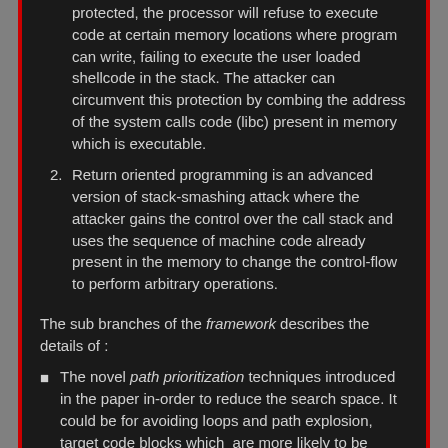protected, the processor will refuse to execute code at certain memory locations where program can write, failing to execute the user loaded shellcode in the stack. The attacker can circumvent this protection by combing the address of the system calls code (libc) present in memory which is executable.
Return oriented programming is an advanced version of stack-smashing attack where the attacker gains the control over the call stack and uses the sequence of machine code already present in the memory to change the control-flow to perform arbitrary operations.
The sub branches of the framework describes the details of :
The novel path prioritization techniques introduced in the paper in-order to reduce the search space. It could be for avoiding loops and path explosion, target code blocks which are more likely to be vulnerable due to the presence of system calls